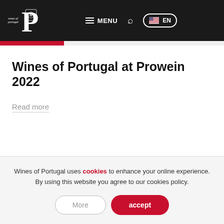Wines of Portugal — MENU EN navigation bar
Wines of Portugal at Prowein 2022
Read more
Wines of Portugal uses cookies to enhance your online experience. By using this website you agree to our cookies policy.
More | accept